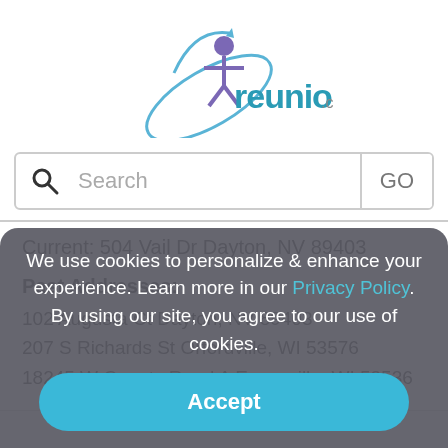[Figure (logo): reunion.com logo with stylized figure and orbit arc]
Search GO
Current: 504 Vail Dr Dayton, NV 89403
Past Addresses:
102 Augusta Ct Dayton, NV 89403
207 S Richards St Orfordville, WI 53576
18245 W County Road A Evansville, WI 53536
We use cookies to personalize & enhance your experience. Learn more in our Privacy Policy. By using our site, you agree to our use of cookies.
Accept
Danielle    Elkhart